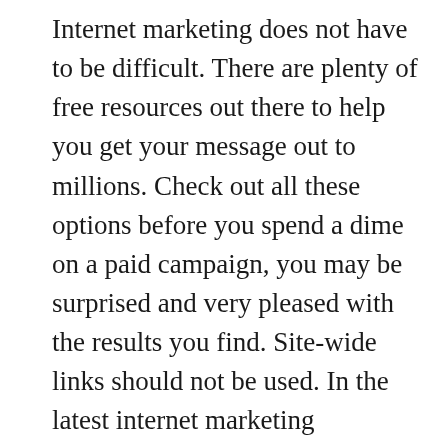Internet marketing does not have to be difficult. There are plenty of free resources out there to help you get your message out to millions. Check out all these options before you spend a dime on a paid campaign, you may be surprised and very pleased with the results you find. Site-wide links should not be used. In the latest internet marketing algorithm changes they have become highly depreciated, and may even lead to penalization. There should only be one site-wide link for every forty to fifty unique links. It is better to be safe then sorry with your links. If you have users that you have only had contact with by phone you should offer them the chance to sign up for your online newsletter before hanging up the